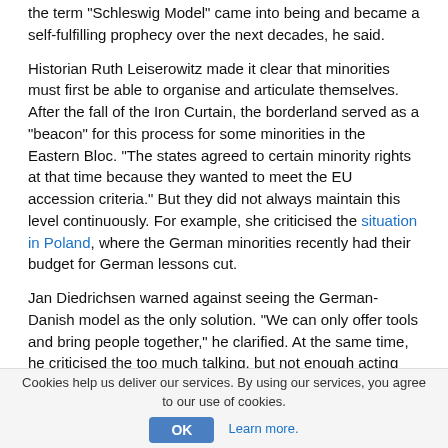the term "Schleswig Model" came into being and became a self-fulfilling prophecy over the next decades, he said.
Historian Ruth Leiserowitz made it clear that minorities must first be able to organise and articulate themselves. After the fall of the Iron Curtain, the borderland served as a "beacon" for this process for some minorities in the Eastern Bloc. "The states agreed to certain minority rights at that time because they wanted to meet the EU accession criteria." But they did not always maintain this level continuously. For example, she criticised the situation in Poland, where the German minorities recently had their budget for German lessons cut.
Jan Diedrichsen warned against seeing the German-Danish model as the only solution. "We can only offer tools and bring people together," he clarified. At the same time, he criticised the too much talking, but not enough acting with regard to European minority policy. "When push comes to shove, the idea of the nation state triumphs," was his impression. With regard to the Minority Safe Pack Initiative rejected by the European Commission, he sees the regions of Europe as important actors to exert further political pressure.
Caption (from left to right): Jan Diedrichsen, Prof. Dr. Ruth Leiserowitz, Prof. Dr. Jørgen Kühl (Credit: FUEN).
Cookies help us deliver our services. By using our services, you agree to our use of cookies.